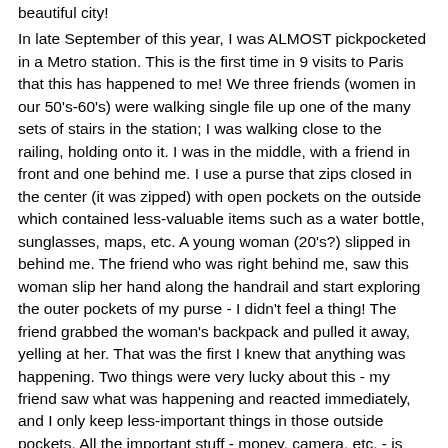beautiful city!
In late September of this year, I was ALMOST pickpocketed in a Metro station. This is the first time in 9 visits to Paris that this has happened to me! We three friends (women in our 50's-60's) were walking single file up one of the many sets of stairs in the station; I was walking close to the railing, holding onto it. I was in the middle, with a friend in front and one behind me. I use a purse that zips closed in the center (it was zipped) with open pockets on the outside which contained less-valuable items such as a water bottle, sunglasses, maps, etc. A young woman (20's?) slipped in behind me. The friend who was right behind me, saw this woman slip her hand along the handrail and start exploring the outer pockets of my purse - I didn't feel a thing! The friend grabbed the woman's backpack and pulled it away, yelling at her. That was the first I knew that anything was happening. Two things were very lucky about this - my friend saw what was happening and reacted immediately, and I only keep less-important things in those outside pockets. All the important stuff - money, camera, etc. - is inside the central compartment which is